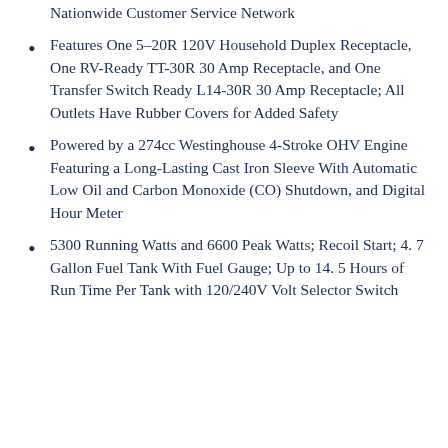Nationwide Customer Service Network
Features One 5–20R 120V Household Duplex Receptacle, One RV-Ready TT-30R 30 Amp Receptacle, and One Transfer Switch Ready L14-30R 30 Amp Receptacle; All Outlets Have Rubber Covers for Added Safety
Powered by a 274cc Westinghouse 4-Stroke OHV Engine Featuring a Long-Lasting Cast Iron Sleeve With Automatic Low Oil and Carbon Monoxide (CO) Shutdown, and Digital Hour Meter
5300 Running Watts and 6600 Peak Watts; Recoil Start; 4. 7 Gallon Fuel Tank With Fuel Gauge; Up to 14. 5 Hours of Run Time Per Tank with 120/240V Volt Selector Switch